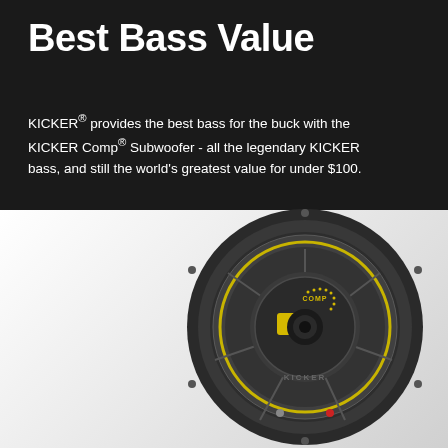Best Bass Value
KICKER® provides the best bass for the buck with the KICKER Comp® Subwoofer - all the legendary KICKER bass, and still the world's greatest value for under $100.
[Figure (photo): KICKER Comp subwoofer viewed from the back, showing circular speaker cone, yellow accent ring, yellow COMP label in center, and KICKER branding. Speaker is mounted on a white/gray gradient background.]